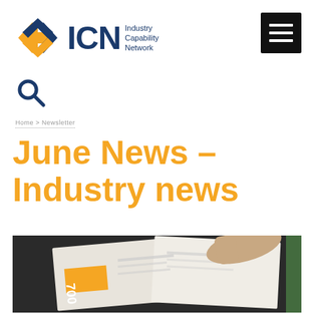[Figure (logo): ICN Industry Capability Network logo with orange/blue arrow icon and text]
[Figure (other): Black hamburger menu button in top right corner]
[Figure (other): Dark blue search magnifying glass icon]
Home > Newsletter
June News – Industry news
[Figure (photo): Photo of a person holding open a magazine/newsletter with orange and white layout]